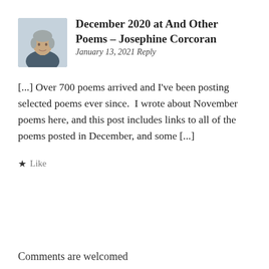[Figure (photo): Portrait photo of a woman with short grey hair against a light background]
December 2020 at And Other Poems – Josephine Corcoran
January 13, 2021 Reply
[...] Over 700 poems arrived and I've been posting selected poems ever since.  I wrote about November poems here, and this post includes links to all of the poems posted in December, and some [...]
★ Like
Comments are welcomed